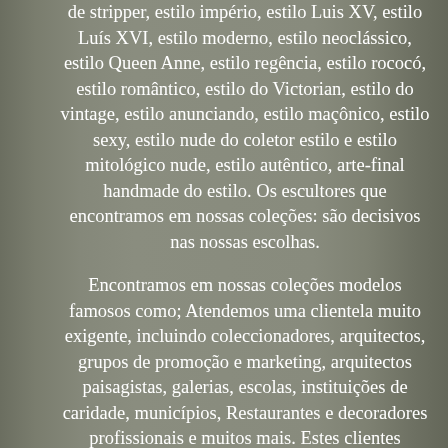de stripper, estilo império, estilo Luis XV, estilo Luís XVI, estilo moderno, estilo neoclássico, estilo Queen Anne, estilo regência, estilo rococó, estilo romântico, estilo do Victorian, estilo do vintage, estilo anunciando, estilo maçônico, estilo sexy, estilo nude do coletor estilo e estilo mitológico nude, estilo autêntico, arte-final handmade do estilo. Os escultores que encontramos em nossas coleções: são decisivos nas nossas escolhas.
Encontramos em nossas coleções modelos famosos como; Atendemos uma clientela muito exigente, incluindo coleccionadores, arquitectos, grupos de promoção e marketing, arquitectos paisagistas, galerias, escolas, instituições de caridade, municípios, Restaurantes e decoradores profissionais e muitos mais. Estes clientes exigentes esperam que sejamos os melhores. The item "Art Deco Style Box Jewelry Figurine Powder Box Cat Wildlife Art Nouveau Style Po" is in sale since Tuesday, June 30, 2020.